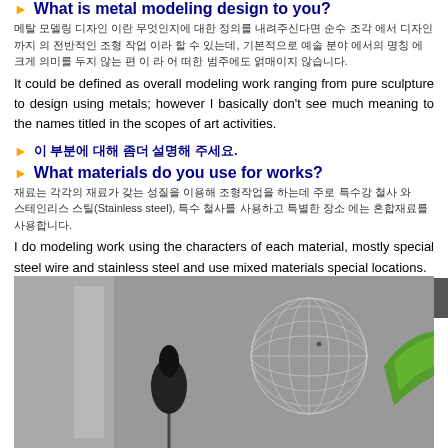What is metal modeling design to you?
메탈 모델링 디자인 이란 무엇인지에 대한 정의를 내려주신다면 순수 조각 에서 디자인 까지 의 전반적인 조형 작업 이라 할 수 있는데, 기본적으로 예술 분야 에서의 명칭 에 크게 의미를 두지 않는 편 이 라 어 떠한 범주에도 얽매이지 않습니다.
It could be defined as overall modeling work ranging from pure sculpture to design using metals; however I basically don't see much meaning to the names titled in the scopes of art activities.
이 부분에 대해 좀더 설명해 주세요.
What materials do you use for works?
재료는 각각의 재료가 갖는 성질을 이용해 조형작업을 하는데 주로 특수강 철사 와 스테인리스 스틸(Stainless steel), 특수 철사를 사용하고 특별한 장소 에는 혼합재료를 사용합니다.
I do modeling work using the characters of each material, mostly special steel wire and stainless steel and use mixed materials special locations.
[Figure (photo): Photo showing metal wire sculptures on a wall including a large wire sphere and a black oval sculpture, with a green element on the right. A 'Today' logo is visible in the top left of the photo.]